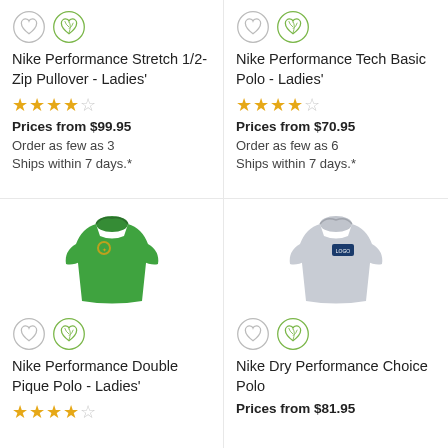[Figure (illustration): Heart icon and leaf/eco heart icon for Nike Performance Stretch 1/2-Zip Pullover - Ladies']
Nike Performance Stretch 1/2-Zip Pullover - Ladies'
[Figure (infographic): 4.5 star rating (4 filled, 1 empty)]
Prices from $99.95
Order as few as 3
Ships within 7 days.*
[Figure (illustration): Heart icon and leaf/eco heart icon for Nike Performance Tech Basic Polo - Ladies']
Nike Performance Tech Basic Polo - Ladies'
[Figure (infographic): 4.5 star rating (4 filled, 1 empty)]
Prices from $70.95
Order as few as 6
Ships within 7 days.*
[Figure (photo): Green ladies polo shirt with embroidered logo]
[Figure (illustration): Heart icon and leaf/eco heart icon for Nike Performance Double Pique Polo - Ladies']
Nike Performance Double Pique Polo - Ladies'
[Figure (infographic): 4.5 star rating (partial stars shown, cut off)]
[Figure (photo): Grey men's polo shirt with blue patch logo]
[Figure (illustration): Heart icon and leaf/eco heart icon for Nike Dry Performance Choice Polo]
Nike Dry Performance Choice Polo
Prices from $81.95